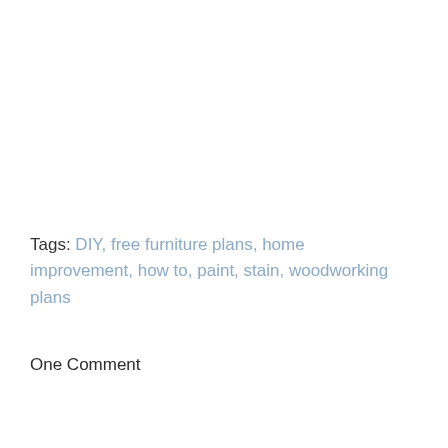Tags: DIY, free furniture plans, home improvement, how to, paint, stain, woodworking plans
One Comment